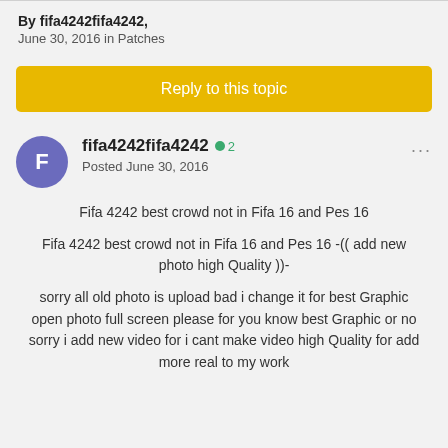By fifa4242fifa4242, June 30, 2016 in Patches
Reply to this topic
fifa4242fifa4242 ● 2
Posted June 30, 2016
Fifa 4242 best crowd not in Fifa 16 and Pes 16
Fifa 4242 best crowd not in Fifa 16 and Pes 16 -(( add new photo high Quality ))-
sorry all old photo is upload bad i change it for best Graphic open photo full screen please for you know best Graphic or no sorry i add new video for i cant make video high Quality for add more real to my work